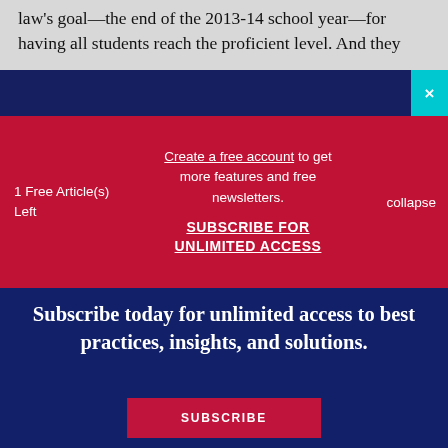law's goal—the end of the 2013-14 school year—for having all students reach the proficient level. And they
1 Free Article(s) Left
Create a free account to get more features and free newsletters. SUBSCRIBE FOR UNLIMITED ACCESS
collapse
Subscribe today for unlimited access to best practices, insights, and solutions.
SUBSCRIBE